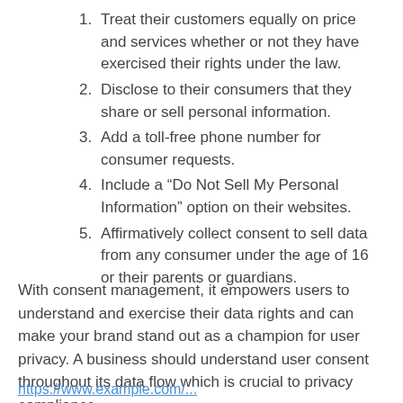Treat their customers equally on price and services whether or not they have exercised their rights under the law.
Disclose to their consumers that they share or sell personal information.
Add a toll-free phone number for consumer requests.
Include a “Do Not Sell My Personal Information” option on their websites.
Affirmatively collect consent to sell data from any consumer under the age of 16 or their parents or guardians.
With consent management, it empowers users to understand and exercise their data rights and can make your brand stand out as a champion for user privacy. A business should understand user consent throughout its data flow which is crucial to privacy compliance.
https://www.example.com/...